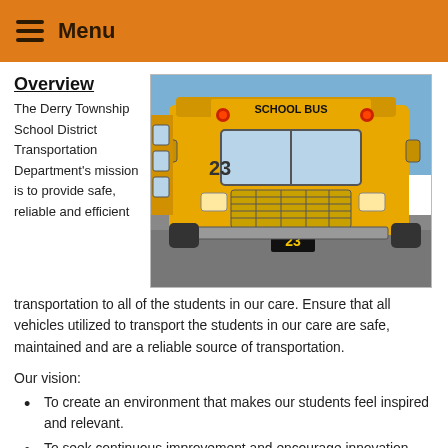Menu
Overview
[Figure (photo): A yellow school bus with number 23 on the front bumper, labeled SCHOOL BUS across the top windshield area, viewed from a slight front angle in a parking lot.]
The Derry Township School District Transportation Department's mission is to provide safe, reliable and efficient transportation to all of the students in our care. Ensure that all vehicles utilized to transport the students in our care are safe, maintained and are a reliable source of transportation.
Our vision:
To create an environment that makes our students feel inspired and relevant.
To seek continuous improvement and encourage innovation.